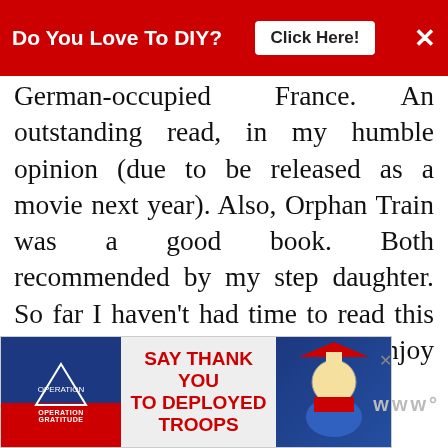Do You Love To DIY? Click Here!
German-occupied France. An outstanding read, in my humble opinion (due to be released as a movie next year). Also, Orphan Train was a good book. Both recommended by my step daughter. So far I haven't had time to read this summer. I hope that changes. Enjoy your books! Hugs.
REPLY DELETE
WHAT'S NEXT → Summertime Yard Sale...
[Figure (screenshot): Bottom advertisement banner for Operation Gratitude - Say Thank You To Deployed Troops]
www